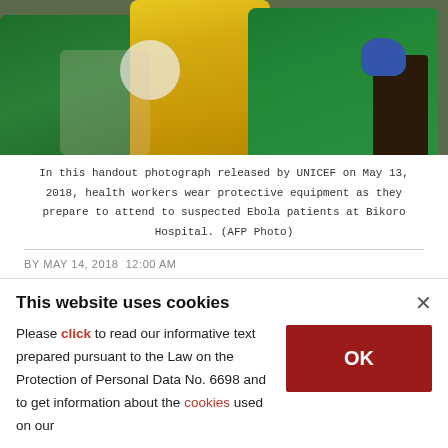[Figure (photo): Health workers in yellow and green protective equipment preparing to attend to suspected Ebola patients at Bikoro Hospital. A handout photograph released by UNICEF on May 13, 2018.]
In this handout photograph released by UNICEF on May 13, 2018, health workers wear protective equipment as they prepare to attend to suspected Ebola patients at Bikoro Hospital. (AFP Photo)
BY MAY 14, 2018  12:00 AM
Democratic Republic of Congo reported 39 suspected, probable or confirmed cases of Ebola between April 4 and May 13, including 19
This website uses cookies
Please click to read our informative text prepared pursuant to the Law on the Protection of Personal Data No. 6698 and to get information about the cookies used on our